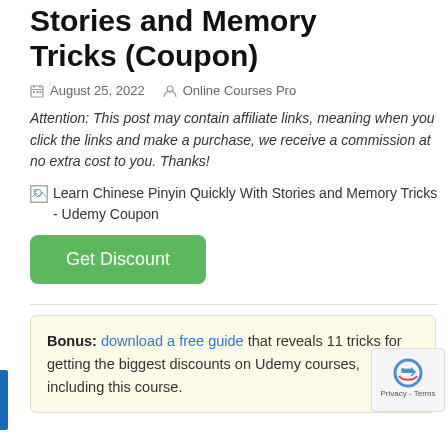Stories and Memory Tricks (Coupon)
August 25, 2022   Online Courses Pro
Attention: This post may contain affiliate links, meaning when you click the links and make a purchase, we receive a commission at no extra cost to you. Thanks!
[Figure (other): Broken image placeholder with alt text: Learn Chinese Pinyin Quickly With Stories and Memory Tricks - Udemy Coupon]
Get Discount
Bonus: download a free guide that reveals 11 tricks for getting the biggest discounts on Udemy courses, including this course.